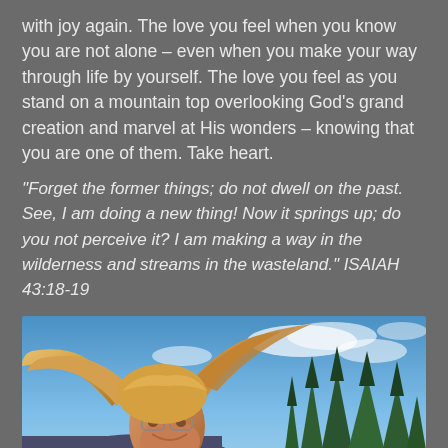with joy again. The love you feel when you know you are not alone – even when you make your way through life by yourself. The love you feel as you stand on a mountain top overlooking God's grand creation and marvel at His wonders – knowing that you are one of them. Take heart.
“Forget the former things; do not dwell on the past. See, I am doing a new thing! Now it springs up; do you not perceive it? I am making a way in the wilderness and streams in the wasteland.” ISAIAH 43:18-19
[Figure (photo): Woman with blonde hair blowing in the wind, wearing glasses, smiling outdoors with evergreen trees and blue sky in the background]